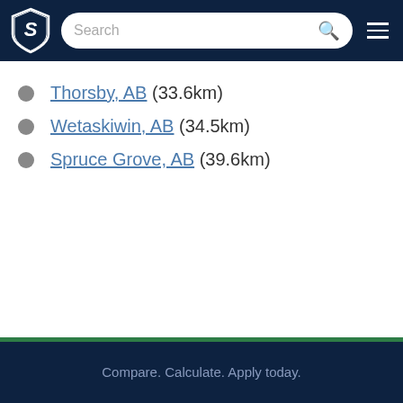[Figure (logo): Shield logo with S letter, navigation header with search bar and hamburger menu]
Thorsby, AB (33.6km)
Wetaskiwin, AB (34.5km)
Spruce Grove, AB (39.6km)
Compare. Calculate. Apply today.